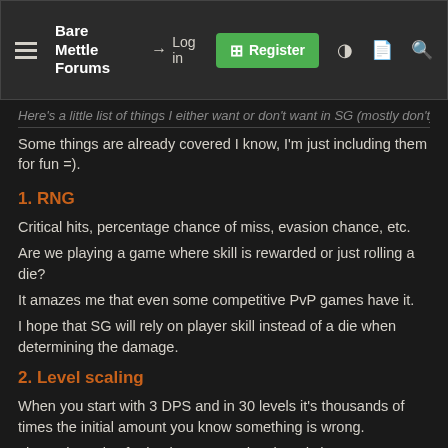Bare Mettle Forums — Log in | Register
Here's a little list of things I either want or don't want in SG (mostly don't)
Some things are already covered I know, I'm just including them for fun =).
1. RNG
Critical hits, percentage chance of miss, evasion chance, etc.
Are we playing a game where skill is rewarded or just rolling a die?
It amazes me that even some competitive PvP games have it.
I hope that SG will rely on player skill instead of a die when determining the damage.
2. Level scaling
When you start with 3 DPS and in 30 levels it's thousands of times the initial amount you know something is wrong.
I hope the gains for having a more developed character won't be too big.
Game doesn't feel like a grindfest.
Good equipment feels a lot more special.